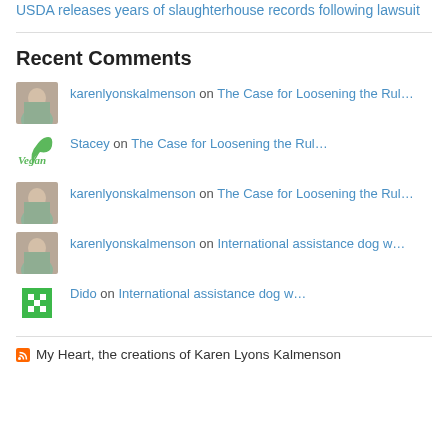USDA releases years of slaughterhouse records following lawsuit
Recent Comments
karenlyonskalmenson on The Case for Loosening the Rul…
Stacey on The Case for Loosening the Rul…
karenlyonskalmenson on The Case for Loosening the Rul…
karenlyonskalmenson on International assistance dog w…
Dido on International assistance dog w…
My Heart, the creations of Karen Lyons Kalmenson